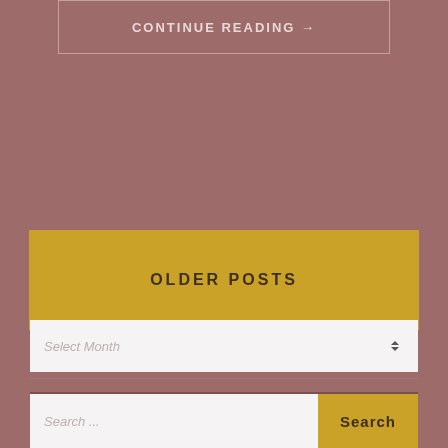CONTINUE READING →
OLDER POSTS
ARCHIVES
Select Month
Search ...
Search